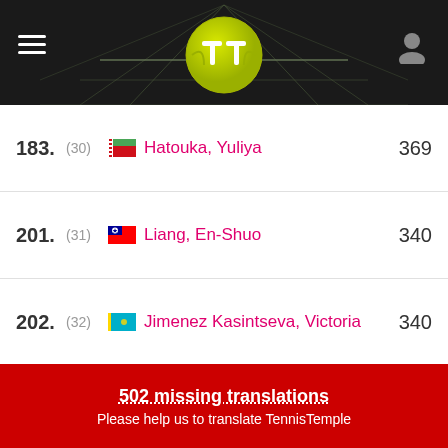[Figure (screenshot): TennisTemple app header with logo, hamburger menu, and user profile icon on dark background with tennis court lines]
183. (30) Hatouka, Yuliya 369
201. (31) Liang, En-Shuo 340
202. (32) Jimenez Kasintseva, Victoria 340
211. (33) Avanesyan, Elina 332
213. (34) Parks, Alycia 329
217. (35) Zakharova, Anastasia 328
225. (36) Waltert, Simona 319
230. (37) Selekhmeteva, Oksana 311
235. (38) Kulikova, Anastasia 305
502 missing translations
Please help us to translate TennisTemple